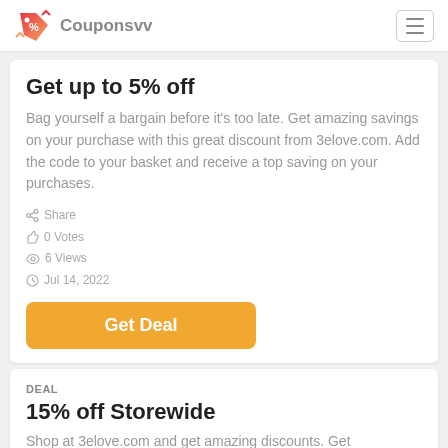Couponsvv
Get up to 5% off
Bag yourself a bargain before it's too late. Get amazing savings on your purchase with this great discount from 3elove.com. Add the code to your basket and receive a top saving on your purchases.
Share
0 Votes
6 Views
Jul 14, 2022
Get Deal
DEAL
15% off Storewide
Shop at 3elove.com and get amazing discounts. Get